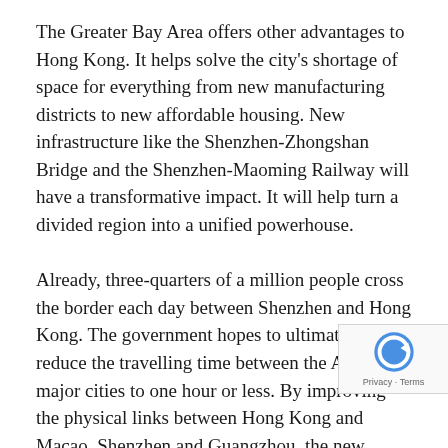The Greater Bay Area offers other advantages to Hong Kong. It helps solve the city's shortage of space for everything from new manufacturing districts to new affordable housing. New infrastructure like the Shenzhen-Zhongshan Bridge and the Shenzhen-Maoming Railway will have a transformative impact. It will help turn a divided region into a unified powerhouse.
Already, three-quarters of a million people cross the border each day between Shenzhen and Hong Kong. The government hopes to ultimately reduce the travelling time between the Area's major cities to one hour or less. By improving the physical links between Hong Kong and Macao, Shenzhen and Guangzhou, the new infrastructure is creating a mega money-making and innovation machine.
This regional integration will create new opportunities